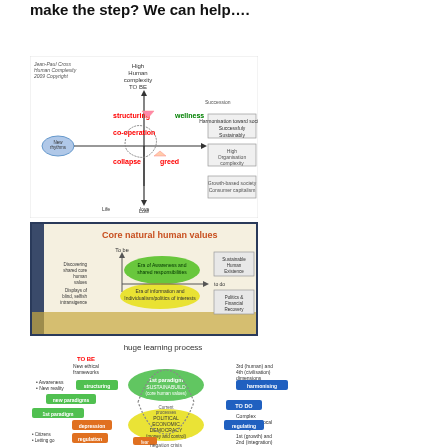make the step? We can help….
[Figure (flowchart): Jean-Paul Cross Human Complexity diagram showing axes of structuring/wellness/greed/collapse with spiral and arrows indicating succession, high organization complexity, and growth-based society/consumer capitalism]
[Figure (infographic): Core natural human values diagram showing To Be axis with Discovering shared core human values, Era of Awareness and shared responsibilities, Era of Information and Individualism/Politics and Financial Recovery, Conscious Human Existence]
[Figure (flowchart): Huge learning process diagram showing TO BE New ethical frameworks with structuring, new paradigms, 1st paradigm (SUSTAINABUILD core human values), harmonising, TO DO complex large-scale/local society, regulation, POLITICAL ECONOMIC DEMOCRACY (money and control), fear, negation, crisis, 3rd and 4th generations, 1st (growth) and 2nd (integration) dimensions]